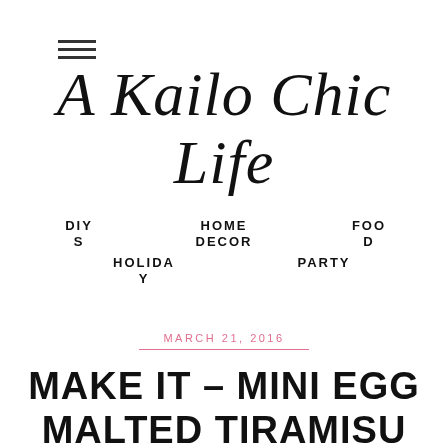[Figure (other): Hamburger menu icon with three horizontal lines]
A Kailo Chic Life
DIYS
HOME DECOR
FOOD
HOLIDAY
PARTY
MARCH 21, 2016
MAKE IT – MINI EGG MALTED TIRAMISU